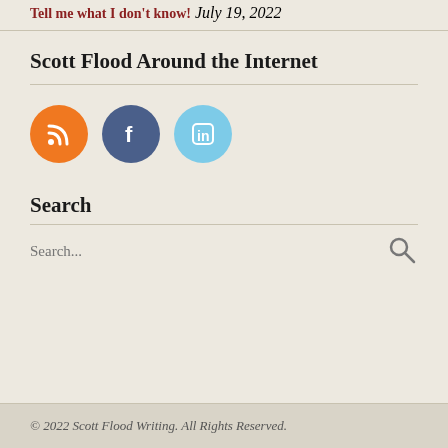Tell me what I don't know! July 19, 2022
Scott Flood Around the Internet
[Figure (infographic): Three social media icon circles: RSS (orange), Facebook (dark blue), LinkedIn (light blue)]
Search
Search...
© 2022 Scott Flood Writing. All Rights Reserved.